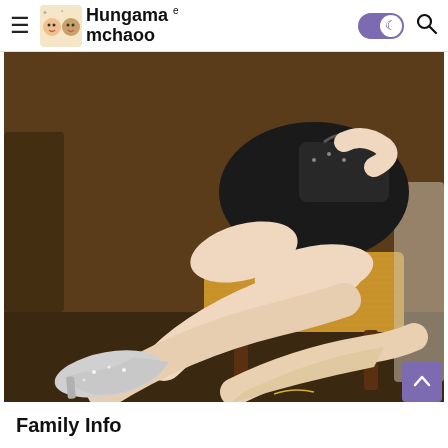Hungama e mchaoo — navigation header with hamburger menu, logo, dark mode toggle, and search icon
[Figure (photo): A woman in a short black leather dress and high heels sitting on a golden velvet chair. The photo shows her legs and lower body. She wears sparkly silver/nude platform heels.]
Family Info